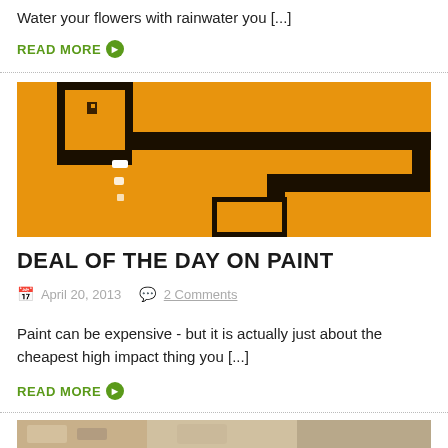Water your flowers with rainwater you [...]
READ MORE
[Figure (illustration): Pixel art style illustration on orange background showing a cartoon figure and winding black path/road]
DEAL OF THE DAY ON PAINT
April 20, 2013   2 Comments
Paint can be expensive - but it is actually just about the cheapest high impact thing you [...]
READ MORE
[Figure (photo): Partial photo visible at bottom of page]